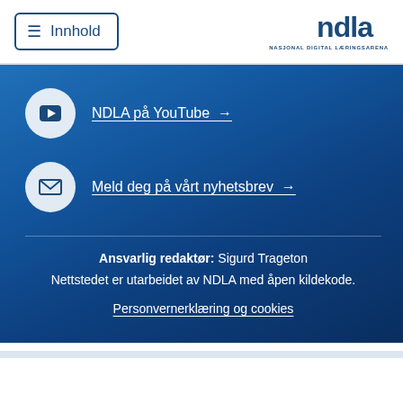≡ Innhold | NDLA NASJONAL DIGITAL LÆRINGSARENA
NDLA på YouTube →
Meld deg på vårt nyhetsbrev →
Ansvarlig redaktør: Sigurd Trageton
Nettstedet er utarbeidet av NDLA med åpen kildekode.
Personvernerklæring og cookies